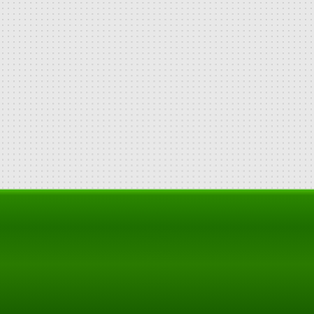[Figure (screenshot): Gray textured background area (top section of webpage)]
[Figure (logo): Planet Minecraft logo with pixel-art globe and blocky green PLANET / brown MINECRAFT text, subtitle CREATIVE COMMUNITY FANSITE]
Home
Sign up
Latest Content
Forums
PMC SOCIAL
SUPPORT
WEBSITE